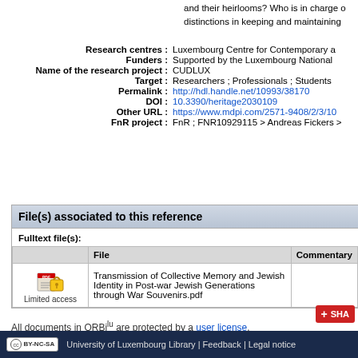and their heirlooms? Who is in charge of distinctions in keeping and maintaining
Research centres : Luxembourg Centre for Contemporary a
Funders : Supported by the Luxembourg National
Name of the research project : CUDLUX
Target : Researchers ; Professionals ; Students
Permalink : http://hdl.handle.net/10993/38170
DOI : 10.3390/heritage2030109
Other URL : https://www.mdpi.com/2571-9408/2/3/10
FnR project : FnR ; FNR10929115 > Andreas Fickers >
File(s) associated to this reference
Fulltext file(s):
|  | File | Commentary |
| --- | --- | --- |
| Limited access | Transmission of Collective Memory and Jewish Identity in Post-war Jewish Generations through War Souvenirs.pdf |  |
All documents in ORBilu are protected by a user license.
CC BY-NC-SA  University of Luxembourg Library | Feedback | Legal notice